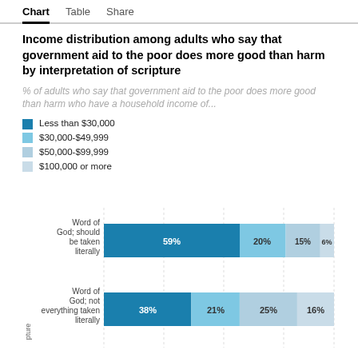Chart  Table  Share
Income distribution among adults who say that government aid to the poor does more good than harm by interpretation of scripture
% of adults who say that government aid to the poor does more good than harm who have a household income of...
Less than $30,000
$30,000-$49,999
$50,000-$99,999
$100,000 or more
[Figure (stacked-bar-chart): Income distribution by interpretation of scripture]